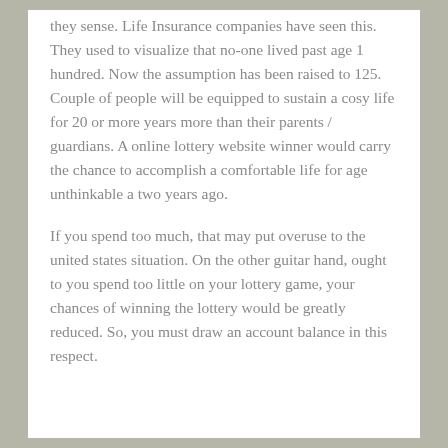they sense. Life Insurance companies have seen this. They used to visualize that no-one lived past age 1 hundred. Now the assumption has been raised to 125. Couple of people will be equipped to sustain a cosy life for 20 or more years more than their parents / guardians. A online lottery website winner would carry the chance to accomplish a comfortable life for age unthinkable a two years ago.
If you spend too much, that may put overuse to the united states situation. On the other guitar hand, ought to you spend too little on your lottery game, your chances of winning the lottery would be greatly reduced. So, you must draw an account balance in this respect.